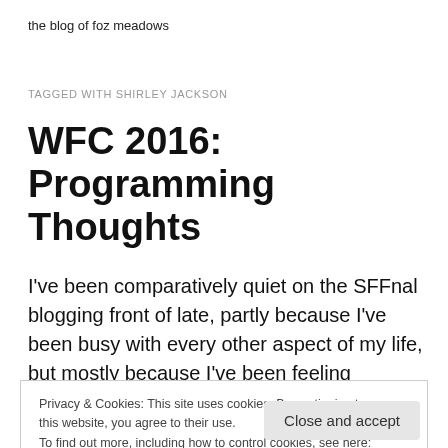the blog of foz meadows
TAGGED WITH SHIRLEY JACKSON
WFC 2016: Programming Thoughts
I've been comparatively quiet on the SFFnal blogging front of late, partly because I've been busy with every other aspect of my life, but mostly because I've been feeling
Privacy & Cookies: This site uses cookies. By continuing to use this website, you agree to their use.
To find out more, including how to control cookies, see here: Cookie Policy
Close and accept